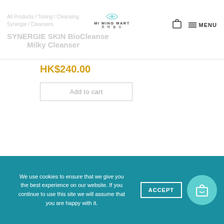Mi Ming Mart
SYNERGIE SKIN BioCleanse Milky Cleanser
HK$240.00
Add to cart
About Us
We use cookies to ensure that we give you the best experience on our website. If you continue to use this site we will assume that you are happy with it.
ACCEPT